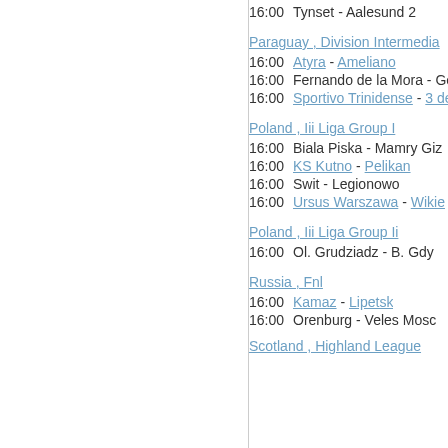16:00  Tynset - Aalesund 2
Paraguay , Division Intermedia
16:00  Atyra - Ameliano
16:00  Fernando de la Mora - General C
16:00  Sportivo Trinidense - 3 de F
Poland , Iii Liga Group I
16:00  Biala Piska - Mamry Giz
16:00  KS Kutno - Pelikan
16:00  Swit - Legionowo
16:00  Ursus Warszawa - Wikie
Poland , Iii Liga Group Ii
16:00  Ol. Grudziadz - B. Gdy
Russia , Fnl
16:00  Kamaz - Lipetsk
16:00  Orenburg - Veles Mosc
Scotland , Highland League